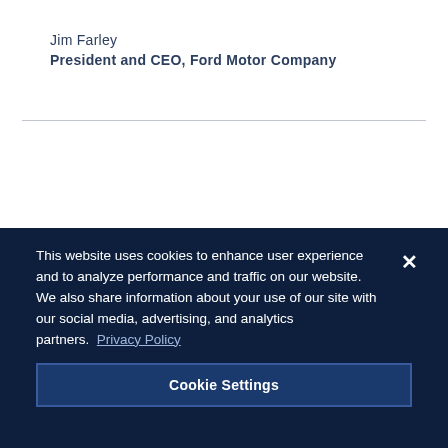Jim Farley
President and CEO, Ford Motor Company
1890   1914
This website uses cookies to enhance user experience and to analyze performance and traffic on our website. We also share information about your use of our site with our social media, advertising, and analytics partners.  Privacy Policy
Cookie Settings